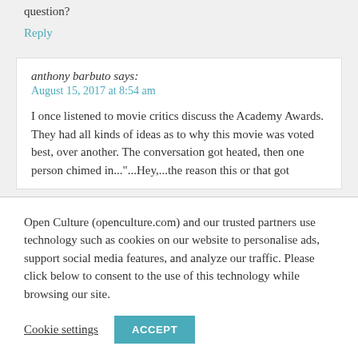question?
Reply
anthony barbuto says:
August 15, 2017 at 8:54 am
I once listened to movie critics discuss the Academy Awards. They had all kinds of ideas as to why this movie was voted best, over another. The conversation got heated, then one person chimed in..."...Hey,...the reason this or that got
Open Culture (openculture.com) and our trusted partners use technology such as cookies on our website to personalise ads, support social media features, and analyze our traffic. Please click below to consent to the use of this technology while browsing our site.
Cookie settings
ACCEPT